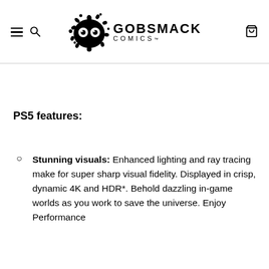Gobsmack Comics
PS5 features:
Stunning visuals: Enhanced lighting and ray tracing make for super sharp visual fidelity. Displayed in crisp, dynamic 4K and HDR*. Behold dazzling in-game worlds as you work to save the universe. Enjoy Performance